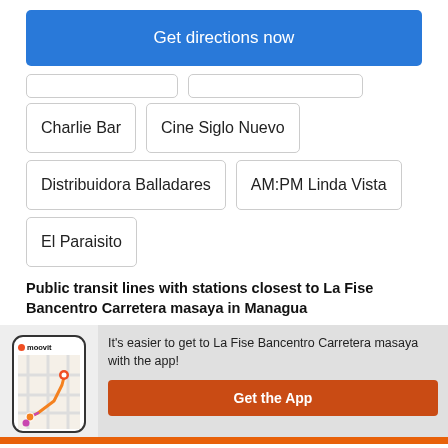Get directions now
Charlie Bar
Cine Siglo Nuevo
Distribuidora Balladares
AM:PM Linda Vista
El Paraisito
Public transit lines with stations closest to La Fise Bancentro Carretera masaya in Managua
It's easier to get to La Fise Bancentro Carretera masaya with the app!
Get the App